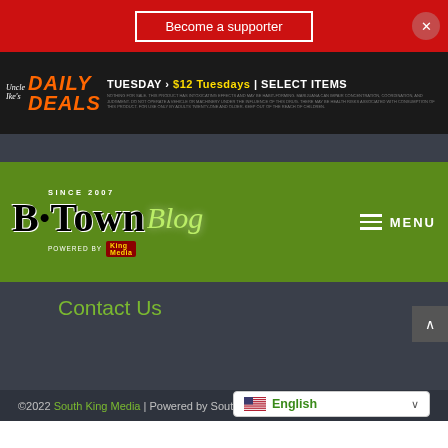Become a supporter
[Figure (infographic): Uncle Ike's Daily Deals advertisement banner: TUESDAY > $12 Tuesdays | SELECT ITEMS with small disclaimer text]
[Figure (logo): The B-Town Blog logo - Since 2007, Powered by King Media, on green background with MENU hamburger button]
Contact Us
©2022 South King Media | Powered by South King Media | Privacy Policy & Terms  English